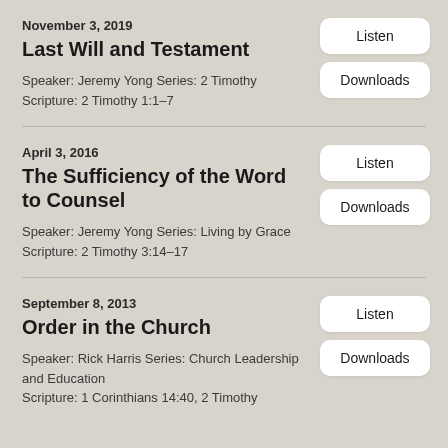November 3, 2019
Last Will and Testament
Speaker: Jeremy Yong Series: 2 Timothy
Scripture: 2 Timothy 1:1–7
April 3, 2016
The Sufficiency of the Word to Counsel
Speaker: Jeremy Yong Series: Living by Grace
Scripture: 2 Timothy 3:14–17
September 8, 2013
Order in the Church
Speaker: Rick Harris Series: Church Leadership and Education
Scripture: 1 Corinthians 14:40, 2 Timothy